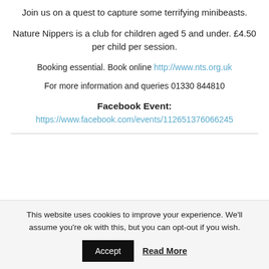Join us on a quest to capture some terrifying minibeasts.
Nature Nippers is a club for children aged 5 and under. £4.50 per child per session.
Booking essential. Book online http://www.nts.org.uk
For more information and queries 01330 844810
Facebook Event:
https://www.facebook.com/events/112651376066245
This website uses cookies to improve your experience. We'll assume you're ok with this, but you can opt-out if you wish.
Accept | Read More